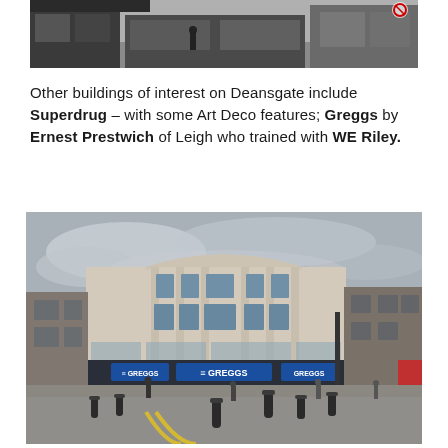[Figure (photo): Top portion of a street-level photo showing shopfronts on Deansgate, partially cropped at top]
Other buildings of interest on Deansgate include Superdrug – with some Art Deco features; Greggs by Ernest Prestwich of Leigh who trained with WE Riley.
[Figure (photo): Photo of a large curved Art Deco building on a town square, with a Greggs bakery at street level, bollards in foreground, overcast sky]